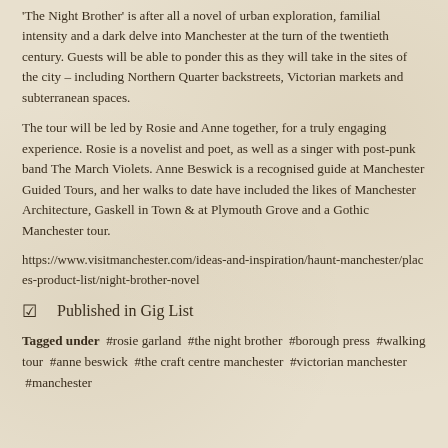'The Night Brother' is after all a novel of urban exploration, familial intensity and a dark delve into Manchester at the turn of the twentieth century. Guests will be able to ponder this as they will take in the sites of the city – including Northern Quarter backstreets, Victorian markets and subterranean spaces.
The tour will be led by Rosie and Anne together, for a truly engaging experience. Rosie is a novelist and poet, as well as a singer with post-punk band The March Violets. Anne Beswick is a recognised guide at Manchester Guided Tours, and her walks to date have included the likes of Manchester Architecture, Gaskell in Town & at Plymouth Grove and a Gothic Manchester tour.
https://www.visitmanchester.com/ideas-and-inspiration/haunt-manchester/places-product-list/night-brother-novel
☑  Published in Gig List
Tagged under  #rosie garland  #the night brother  #borough press  #walking tour  #anne beswick  #the craft centre manchester  #victorian manchester  #manchester #...